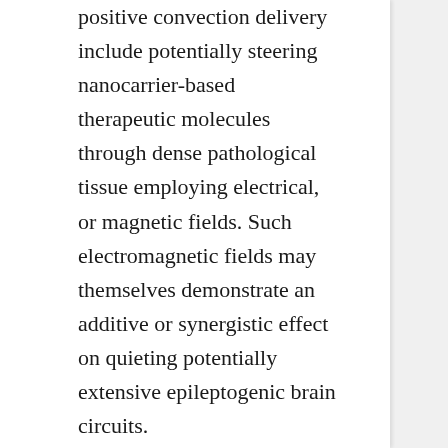positive convection delivery include potentially steering nanocarrier-based therapeutic molecules through dense pathological tissue employing electrical, or magnetic fields. Such electromagnetic fields may themselves demonstrate an additive or synergistic effect on quieting potentially extensive epileptogenic brain circuits.